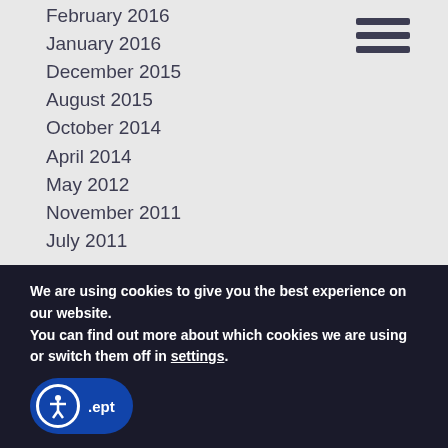February 2016
January 2016
December 2015
August 2015
October 2014
April 2014
May 2012
November 2011
July 2011
FREDERICK DENTIST | CONTACT US
What is your name?
We are using cookies to give you the best experience on our website.
You can find out more about which cookies we are using or switch them off in settings.